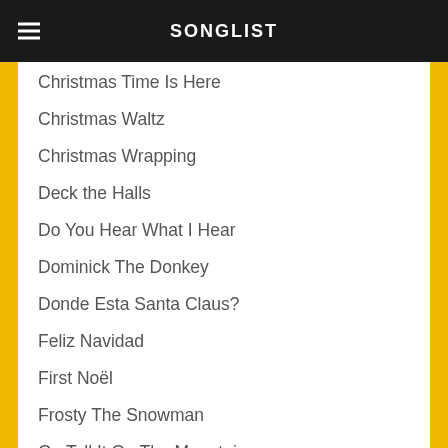SONGLIST
Christmas Time Is Here
Christmas Waltz
Christmas Wrapping
Deck the Halls
Do You Hear What I Hear
Dominick The Donkey
Donde Esta Santa Claus?
Feliz Navidad
First Noël
Frosty The Snowman
Go Tell It On The Mountain
Grandma Got Run Over By a Reindeer
Hard Candy Christmas
Hark! The Herald Angels Sing
Have Holly Jolly Christmas
Have Yourself a Merry Little Christmas
Heat Miser and Snow Miser
Here Comes Santa Claus